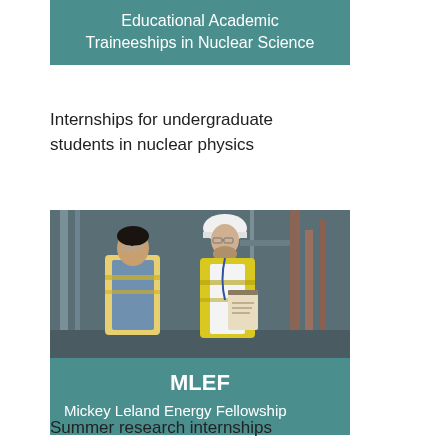Educational Academic Traineeships in Nuclear Science
Internships for undergraduate students in nuclear physics
[Figure (photo): Two workers in yellow high-visibility vests and safety glasses/hard hat reviewing documents at an industrial facility]
MLEF
Mickey Leland Energy Fellowship
Summer research internships